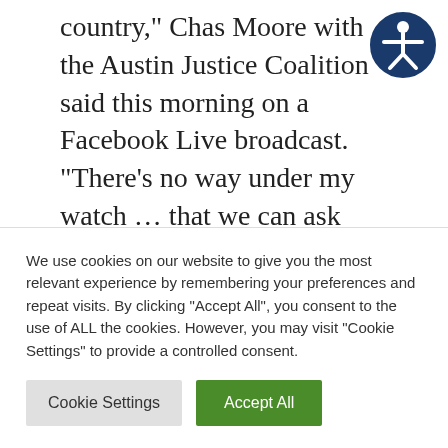country," Chas Moore with the Austin Justice Coalition said this morning on a Facebook Live broadcast. "There's no way under my watch … that we can ask people to come out and potentially have black bodies in harm's way."
The protest was originally slated to happen this afternoon near the Texas Capitol. Moore cited "rumors" that others involved with Saturday night's protest in the city were planning to "hijack"
We use cookies on our website to give you the most relevant experience by remembering your preferences and repeat visits. By clicking "Accept All", you consent to the use of ALL the cookies. However, you may visit "Cookie Settings" to provide a controlled consent.